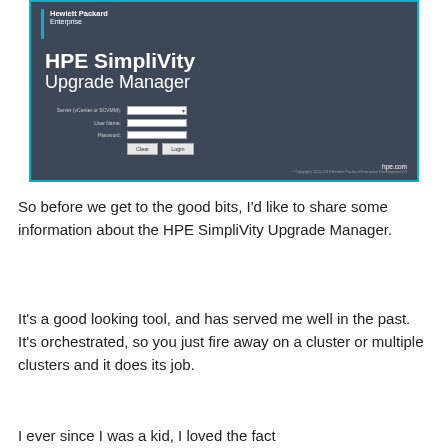[Figure (screenshot): HPE SimpliVity Upgrade Manager login screen screenshot on dark grey background with teal border. Shows HPE logo, product title 'HPE SimpliVity Upgrade Manager', and a login form with fields for Server (vCenter or SCVMM), User Name, Password, and Clear/Login buttons.]
So before we get to the good bits, I'd like to share some information about the HPE SimpliVity Upgrade Manager.
It's a good looking tool, and has served me well in the past. It's orchestrated, so you just fire away on a cluster or multiple clusters and it does its job.
I ever since...